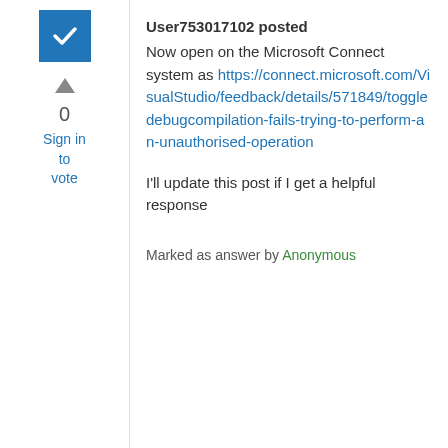[Figure (other): Blue checkbox icon with white checkmark]
[Figure (other): Dark grey upward-pointing triangle vote up arrow]
0
Sign in to vote
User753017102 posted
Now open on the Microsoft Connect system as https://connect.microsoft.com/VisualStudio/feedback/details/571849/toggledebugcompilation-fails-trying-to-perform-an-unauthorised-operation
I'll update this post if I get a helpful response
Marked as answer by Anonymous